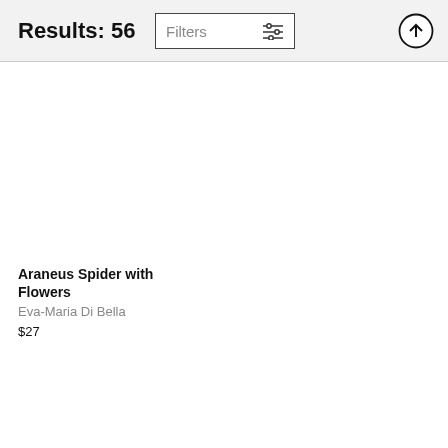Results: 56
Filters
Araneus Spider with Flowers
Eva-Maria Di Bella
$27